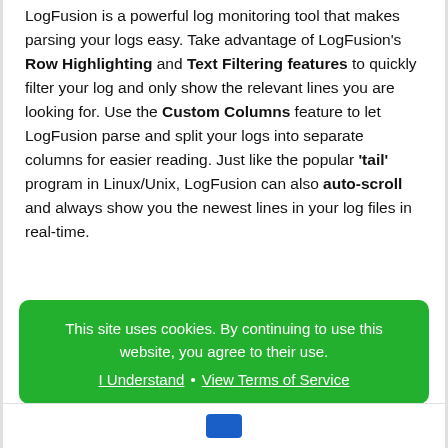LogFusion is a powerful log monitoring tool that makes parsing your logs easy. Take advantage of LogFusion's Row Highlighting and Text Filtering features to quickly filter your log and only show the relevant lines you are looking for. Use the Custom Columns feature to let LogFusion parse and split your logs into separate columns for easier reading. Just like the popular 'tail' program in Linux/Unix, LogFusion can also auto-scroll and always show you the newest lines in your log files in real-time.
Read More or Post a Comment...
Binary Fortress Software RSS
This site uses cookies. By continuing to use this website, you agree to their use.
I Understand • View Terms of Service